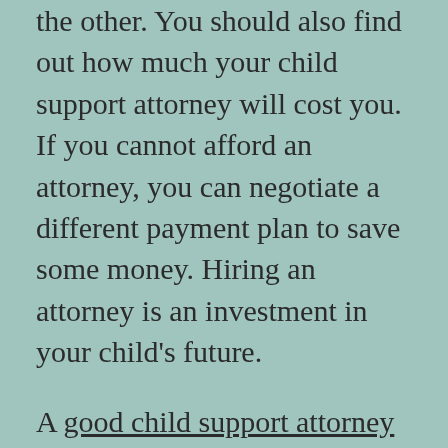the other. You should also find out how much your child support attorney will cost you. If you cannot afford an attorney, you can negotiate a different payment plan to save some money. Hiring an attorney is an investment in your child's future.
A good child support attorney will be able to negotiate the best payment arrangement. Usually, the support amount will be based on the number of children in the household and the income of each spouse. They will also look at other factors, such as the standard of living and the needs of the child, to determine the